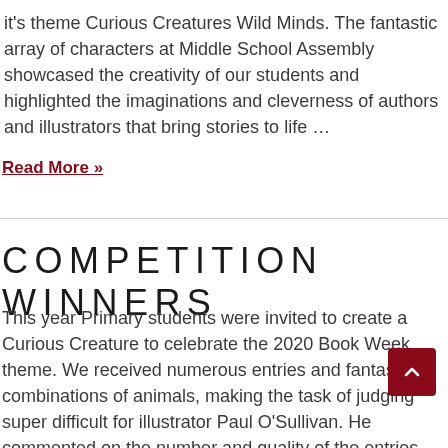it's theme Curious Creatures Wild Minds. The fantastic array of characters at Middle School Assembly showcased the creativity of our students and highlighted the imaginations and cleverness of authors and illustrators that bring stories to life …
Read More »
COMPETITION WINNERS
This year Primary students were invited to create a Curious Creature to celebrate the 2020 Book Week theme. We received numerous entries and fantastic combinations of animals, making the task of judging super difficult for illustrator Paul O'Sullivan. He commented on the number and quality of the entries and we commend e one who participated in …